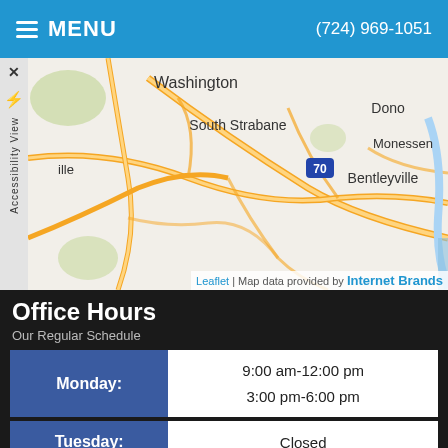MENU   (724) 969-1051
[Figure (map): Road map showing Washington, South Strabane, Bentleyville, Monessen, Donora area with highways including Route 70]
Office Hours
Our Regular Schedule
| Day | Hours |
| --- | --- |
| Monday: | 9:00 am-12:00 pm
3:00 pm-6:00 pm |
| Tuesday: | Closed |
| Wednesday: | 9:00 am-12:00 pm |